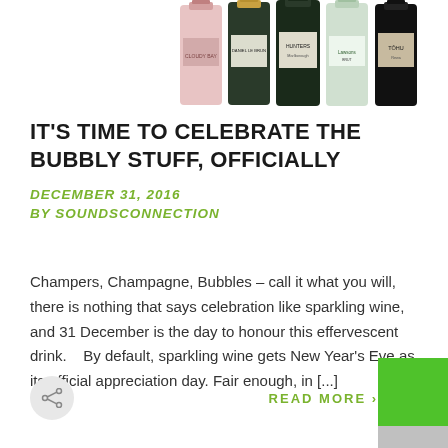[Figure (photo): Five wine/champagne bottles arranged side by side showing labels including Daniel Le Brun, Hunters, and Tohu brands]
IT'S TIME TO CELEBRATE THE BUBBLY STUFF, OFFICIALLY
DECEMBER 31, 2016
BY SOUNDSCONNECTION
Champers, Champagne, Bubbles – call it what you will, there is nothing that says celebration like sparkling wine, and 31 December is the day to honour this effervescent drink.   By default, sparkling wine gets New Year's Eve as its official appreciation day. Fair enough, in [...]
READ MORE >